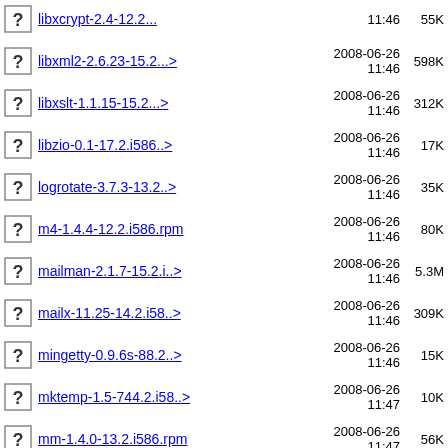libxcrypt-2.4-12.2... 2008-06-26 11:46 55K
libxml2-2.6.23-15.2...> 2008-06-26 11:46 598K
libxslt-1.1.15-15.2...> 2008-06-26 11:46 312K
libzio-0.1-17.2.i586..> 2008-06-26 11:46 17K
logrotate-3.7.3-13.2..> 2008-06-26 11:46 35K
m4-1.4.4-12.2.i586.rpm 2008-06-26 11:46 80K
mailman-2.1.7-15.2.i..> 2008-06-26 11:46 5.3M
mailx-11.25-14.2.i58..> 2008-06-26 11:46 309K
mingetty-0.9.6s-88.2..> 2008-06-26 11:46 15K
mktemp-1.5-744.2.i58..> 2008-06-26 11:47 10K
mm-1.4.0-13.2.i586.rpm 2008-06-26 11:47 56K
mx4j-1.1.1-20.2.noar..> 2008-06-26 11:47 551K